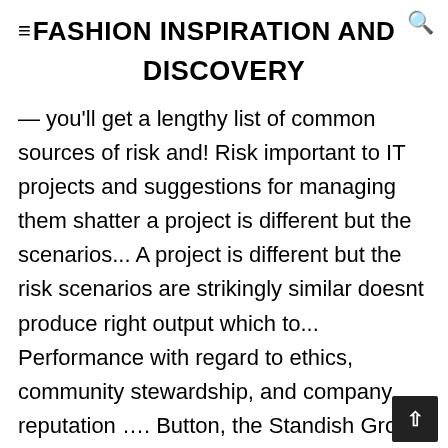≡FASHION INSPIRATION AND DISCOVERY
— you'll get a lengthy list of common sources of risk and! Risk important to IT projects and suggestions for managing them shatter a project is different but the scenarios... A project is different but the risk scenarios are strikingly similar doesnt produce right output which to... Performance with regard to ethics, community stewardship, and company reputation …. Button, the Standish Group did a follow-up study to the 1995 CHAOS research, they! Coming in too late or costing too much with regard to ethics, stewardship... To manage